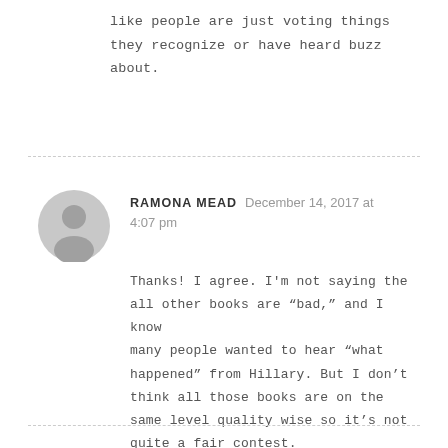like people are just voting things they recognize or have heard buzz about.
[Figure (illustration): Gray default avatar icon showing a silhouette of a person (head and shoulders) on a circular gray background]
RAMONA MEAD   December 14, 2017 at 4:07 pm
Thanks! I agree. I'm not saying the all other books are “bad,” and I know many people wanted to hear “what happened” from Hillary. But I don’t think all those books are on the same level quality wise so it’s not quite a fair contest.